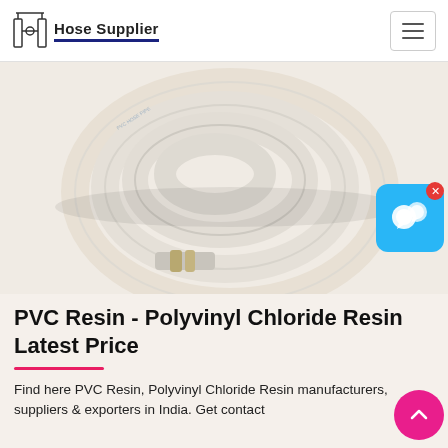Hose Supplier
[Figure (photo): A coiled white PVC hose with metal fittings/connectors on a light beige background]
PVC Resin - Polyvinyl Chloride Resin Latest Price
Find here PVC Resin, Polyvinyl Chloride Resin manufacturers, suppliers & exporters in India. Get contact